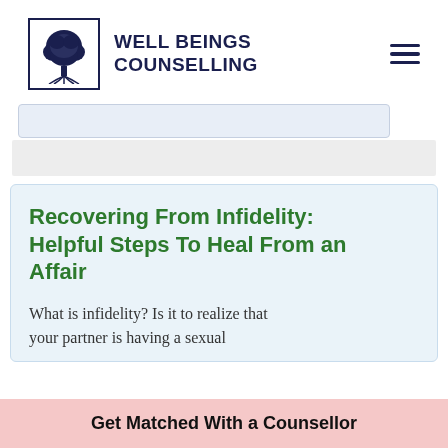[Figure (logo): Well Beings Counselling logo: tree with roots inside a bordered square, with brand name text to the right]
Recovering From Infidelity: Helpful Steps To Heal From an Affair
What is infidelity? Is it to realize that your partner is having a sexual
Get Matched With a Counsellor